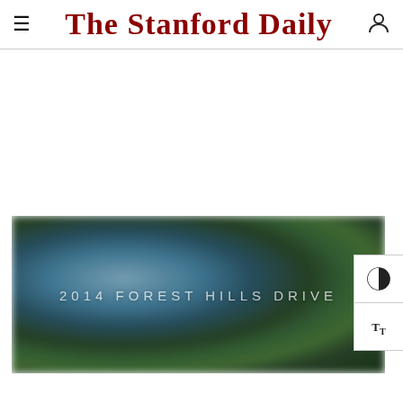The Stanford Daily
[Figure (photo): Blurred bokeh photo of trees/foliage with text overlay reading '2014 FOREST HILLS DRIVE']
x